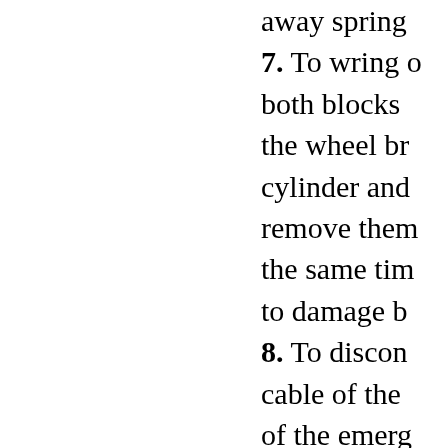away spring
7. To wring both blocks the wheel br cylinder and remove them the same tim to damage b
8. To discon cable of the of the emerg brake from a brake shoe. prevention o drop-out of pistons of th working bra cylinder to f pistons by th correspondin elastic band wire.
9. To note ar arrangement details of the